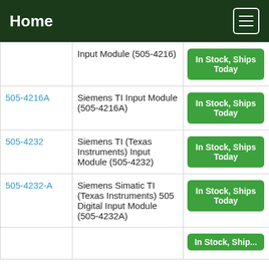Home
| Part Number | Description | Availability |
| --- | --- | --- |
|  | Input Module (505-4216) | In Stock, Ships Today |
| 505-4216A | Siemens TI Input Module (505-4216A) | In Stock, Ships Today |
| 505-4232 | Siemens TI (Texas Instruments) Input Module (505-4232) | In Stock, Ships Today |
| 505-4232-A | Siemens Simatic TI (Texas Instruments) 505 Digital Input Module (505-4232A) | In Stock, Ships Today |
| 505-4xxx | 505-4xxx Digital... | In Stock, Ships Today |